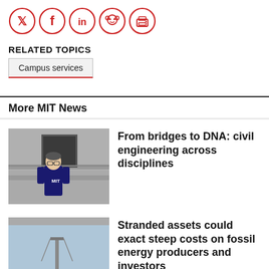[Figure (illustration): Row of social media sharing icons: Twitter, Facebook, LinkedIn, Reddit, Print — all in red circle outlines]
RELATED TOPICS
Campus services
More MIT News
[Figure (photo): Young man wearing MIT t-shirt standing on steps in front of a building]
From bridges to DNA: civil engineering across disciplines
[Figure (photo): Outdoor photo likely showing energy infrastructure]
Stranded assets could exact steep costs on fossil energy producers and investors